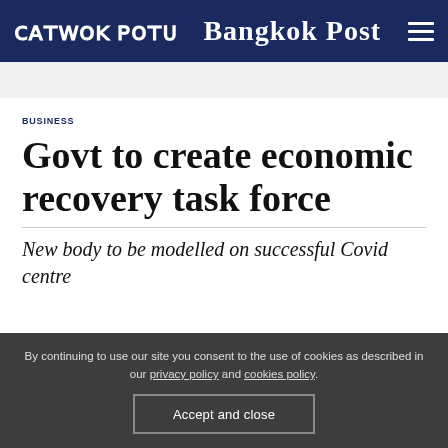Bangkok Post
BUSINESS
Govt to create economic recovery task force
New body to be modelled on successful Covid centre
By continuing to use our site you consent to the use of cookies as described in our privacy policy and cookies policy.
Accept and close